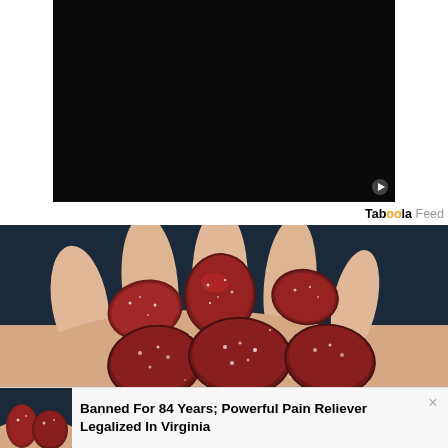[Figure (screenshot): Dark/black video player placeholder centered in white area at top of page]
Tabøøla Feed
[Figure (photo): Close-up photo of sugar-coated dark red gummy candies held in an open palm against a dark blue background]
Banned For 84 Years; Powerful Pain Reliever Legalized In Virginia
[Figure (screenshot): Small thumbnail of gummy candies on a hand, used in notification popup]
Banned For 84 Years; Powerful Pain Reliever Legalized In Virginia